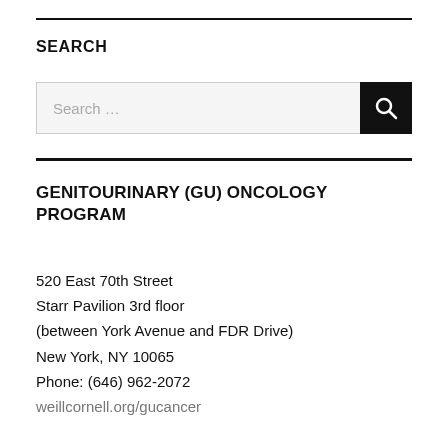SEARCH
[Figure (screenshot): Search input bar with placeholder text 'Search ...' and a black search button with magnifying glass icon]
GENITOURINARY (GU) ONCOLOGY PROGRAM
520 East 70th Street
Starr Pavilion 3rd floor
(between York Avenue and FDR Drive)
New York, NY 10065
Phone: (646) 962-2072
weillcornell.org/gucancer